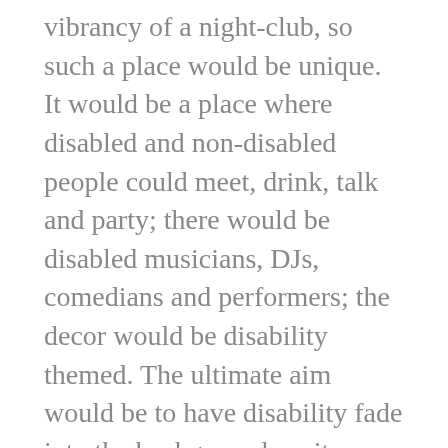vibrancy of a night-club, so such a place would be unique. It would be a place where disabled and non-disabled people could meet, drink, talk and party; there would be disabled musicians, DJs, comedians and performers; the decor would be disability themed. The ultimate aim would be to have disability fade into the background, so it becomes normal.
Of course, I know nothing about running a night-club, let alone setting one up, so this is probably just a fanciful daydream. I don't have the capital anyway. Nevertheless I do think this is a good idea, and that there is a need for such a place; this